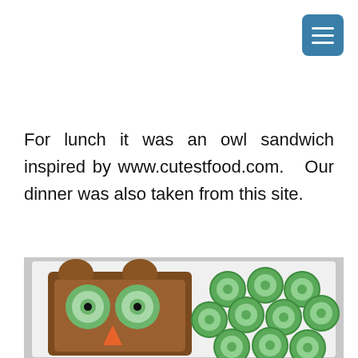[Figure (screenshot): Blue rounded square menu/hamburger button icon with three white horizontal lines, positioned in the top-right corner]
For lunch it was an owl sandwich inspired by www.cutestfood.com.  Our dinner was also taken from this site.
[Figure (photo): Photo of an owl-shaped sandwich made from whole wheat bread with cucumber slice eyes (each with a black olive pupil) and an orange carrot beak, served on a white plate alongside several sliced cucumber rounds]